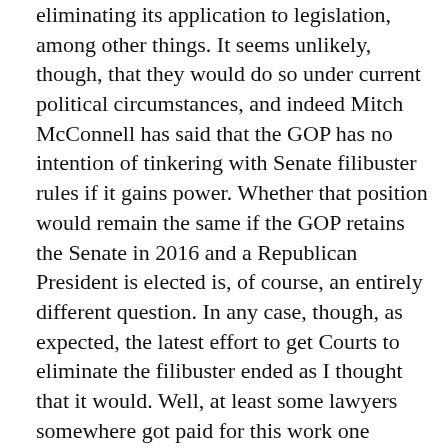eliminating its application to legislation, among other things. It seems unlikely, though, that they would do so under current political circumstances, and indeed Mitch McConnell has said that the GOP has no intention of tinkering with Senate filibuster rules if it gains power. Whether that position would remain the same if the GOP retains the Senate in 2016 and a Republican President is elected is, of course, an entirely different question. In any case, though, as expected, the latest effort to get Courts to eliminate the filibuster ended as I thought that it would. Well, at least some lawyers somewhere got paid for this work one hopes.
[Figure (infographic): Social sharing buttons: Facebook Share, Twitter, Pinterest, Email, SMS, Share]
FILED UNDER: CONGRESS, LAW AND THE COURTS, US POLITICS, BUSH ADMINISTRATION, CITIZENS UNITED, CITIZENSHIP, DISABILITY, DREAM ACT, FILIBUSTER, HOUSE OF